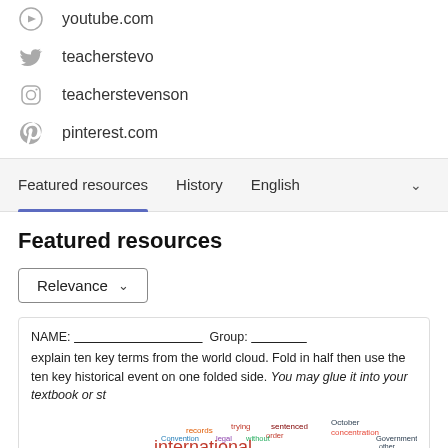youtube.com
teacherstevo
teacherstevenson
pinterest.com
Featured resources   History   English
Featured resources
Relevance
[Figure (other): Resource card showing a word cloud activity. NAME: ___ Group: ___ explain ten key terms from the world cloud. Fold in half then use the ten key historical event on one folded side. You may glue it into your textbook or st... Word cloud contains historical terms: international, defendants, United, Soviet, 1945, 1946, Nazi, Trials, law, committed, etc.]